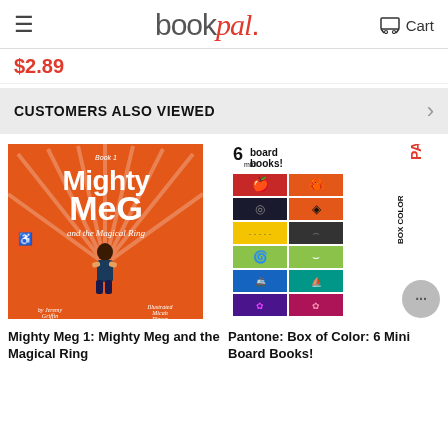bookpal. Cart
$2.89
CUSTOMERS ALSO VIEWED
[Figure (photo): Book cover: Mighty Meg 1: Mighty Meg and the Magical Ring, orange cover with illustrated girl character]
[Figure (photo): Book cover: Pantone: Box of Color: 6 Mini Board Books! with colorful grid panels and PANTONE text vertical]
Mighty Meg 1: Mighty Meg and the Magical Ring
Pantone: Box of Color: 6 Mini Board Books!